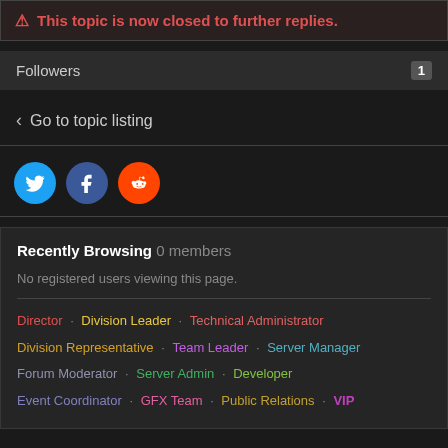⚠ This topic is now closed to further replies.
Followers  1
< Go to topic listing
[Figure (other): Social sharing icons: Twitter (blue circle), Facebook (dark blue circle), Reddit (orange circle)]
Recently Browsing  0 members
No registered users viewing this page.
Director  Division Leader  Technical Administrator  Division Representative  Team Leader  Server Manager  Forum Moderator  Server Admin  Developer  Event Coordinator  GFX Team  Public Relations  VIP